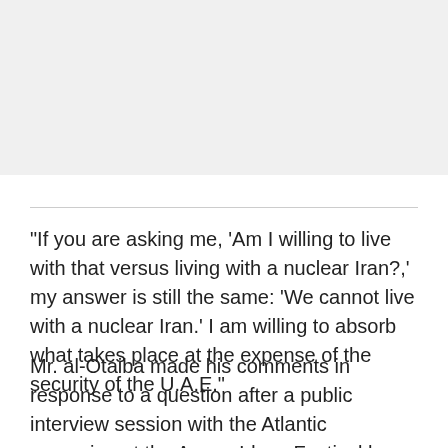[Figure (photo): Photograph placeholder occupying the top portion of the page, light gray background]
“If you are asking me, ‘Am I willing to live with that versus living with a nuclear Iran?,’ my answer is still the same: ‘We cannot live with a nuclear Iran.’ I am willing to absorb what takes place at the expense of the security of the U.A.E.”
Mr. al-Otaiba made his comments in response to a question after a public interview session with the Atlantic magazine at the Aspen Ideas Festival here. They echo those of some Arab diplomats who have said similar things in